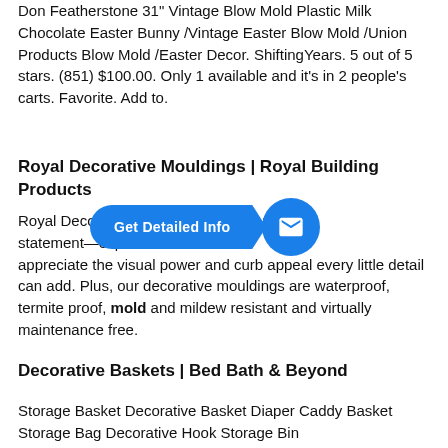Don Featherstone 31" Vintage Blow Mold Plastic Milk Chocolate Easter Bunny /Vintage Easter Blow Mold /Union Products Blow Mold /Easter Decor. ShiftingYears. 5 out of 5 stars. (851) $100.00. Only 1 available and it's in 2 people's carts. Favorite. Add to.
Royal Decorative Mouldings | Royal Building Products
Royal Decorative Mouldings make a powerful statement—especially when homeowners appreciate the visual power and curb appeal every little detail can add. Plus, our decorative mouldings are waterproof, termite proof, mold and mildew resistant and virtually maintenance free.
Decorative Baskets | Bed Bath & Beyond
Storage Basket Decorative Basket Diaper Caddy Basket Storage Bag Decorative Hook Storage Bin